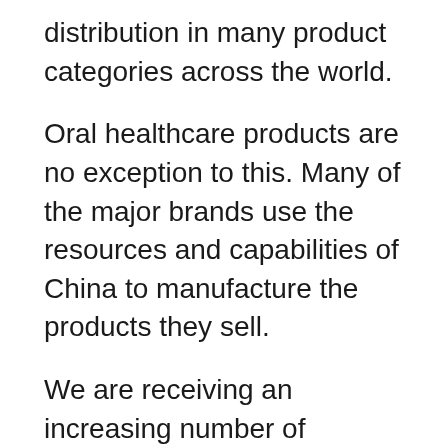distribution in many product categories across the world.
Oral healthcare products are no exception to this. Many of the major brands use the resources and capabilities of China to manufacture the products they sell.
We are receiving an increasing number of requests for information and advice on products, specifically toothbrushes and water flossers, that are not made within China.
We are not entirely sure what the motivation is behind these requests — they could be political, ecological or ethical.